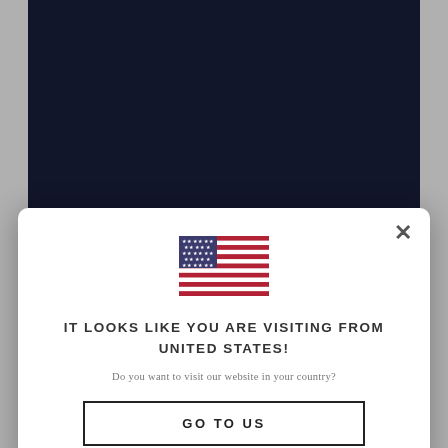[Figure (screenshot): Website background showing dark navy interface with reCAPTCHA widget and gift icon]
[Figure (infographic): Modal popup dialog with US flag, heading 'IT LOOKS LIKE YOU ARE VISITING FROM UNITED STATES!', subtitle, and GO TO US button]
IT LOOKS LIKE YOU ARE VISITING FROM UNITED STATES!
Do you want to visit our website in your country?
GO TO US
I'm not a robot